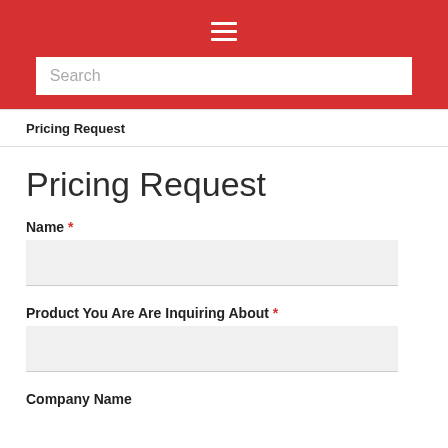[Figure (other): Red navigation header bar with hamburger menu icon (three horizontal white lines)]
Search
Pricing Request
Pricing Request
Name *
Product You Are Are Inquiring About *
Company Name